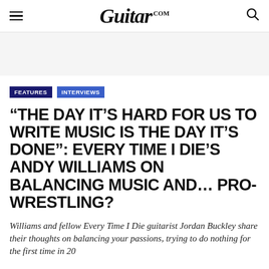Guitar.com
FEATURES
INTERVIEWS
“THE DAY IT’S HARD FOR US TO WRITE MUSIC IS THE DAY IT’S DONE”: EVERY TIME I DIE’S ANDY WILLIAMS ON BALANCING MUSIC AND… PRO-WRESTLING?
Williams and fellow Every Time I Die guitarist Jordan Buckley share their thoughts on balancing your passions, trying to do nothing for the first time in 20